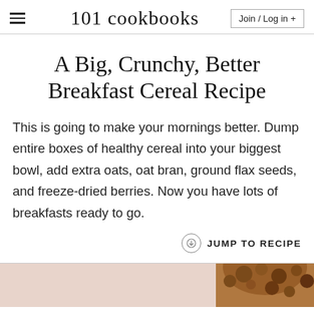101 cookbooks | Join / Log in +
A Big, Crunchy, Better Breakfast Cereal Recipe
This is going to make your mornings better. Dump entire boxes of healthy cereal into your biggest bowl, add extra oats, oat bran, ground flax seeds, and freeze-dried berries. Now you have lots of breakfasts ready to go.
JUMP TO RECIPE
[Figure (photo): Photo of breakfast cereal in a bowl, bottom portion visible with pinkish background]